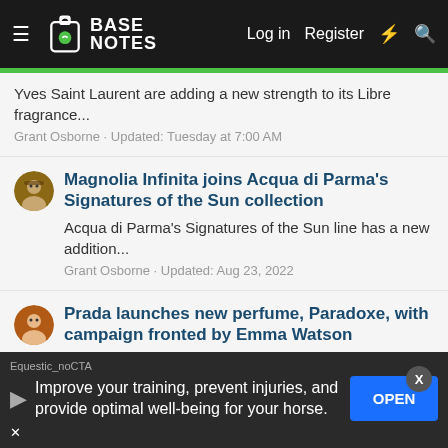BASE NOTES — Log in | Register
Yves Saint Laurent are adding a new strength to its Libre fragrance...
Grant Osborne · Updated: Tuesday at 7:00 AM
Magnolia Infinita joins Acqua di Parma's Signatures of the Sun collection
Acqua di Parma's Signatures of the Sun line has a new addition...
Grant Osborne · Updated: Aug 23, 2022
Prada launches new perfume, Paradoxe, with campaign fronted by Emma Watson
Prada launch their latest feminine fragrance, Paradoxe,
Equestic_noCTA
Improve your training, prevent injuries, and provide optimal well-being for your horse.
OPEN